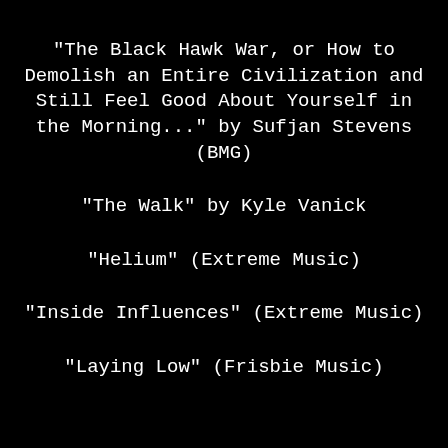"The Black Hawk War, or How to Demolish an Entire Civilization and Still Feel Good About Yourself in the Morning..." by Sufjan Stevens (BMG)
"The Walk" by Kyle Vanick
"Helium" (Extreme Music)
"Inside Influences" (Extreme Music)
"Laying Low" (Frisbie Music)